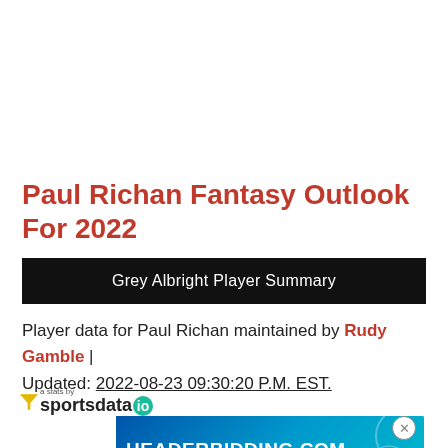Paul Richan Fantasy Outlook For 2022
Grey Albright Player Summary
Player data for Paul Richan maintained by Rudy Gamble | Updated: 2022-08-23 09:30:20 P.M. EST.
[Figure (logo): SportsDataIO logo with funnel icon]
[Figure (screenshot): HeaderBidding.com advertisement banner - Your source for all things programmatic advertising.]